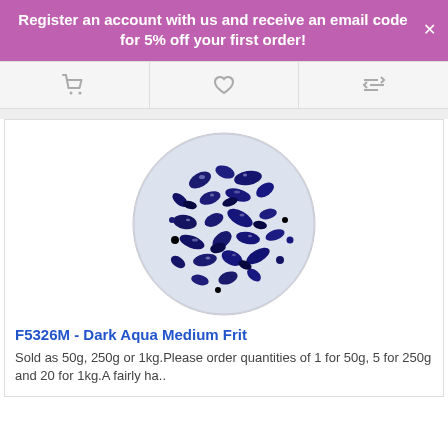Register an account with us and receive an email code for 5% off your first order!
[Figure (photo): Close-up photo of dark aqua medium frit pieces — small dark navy/cobalt blue glass droplet-shaped pieces piled in a circular arrangement on a white background]
F5326M - Dark Aqua Medium Frit
Sold as 50g, 250g or 1kg.Please order quantities of 1 for 50g, 5 for 250g and 20 for 1kg.A fairly ha..